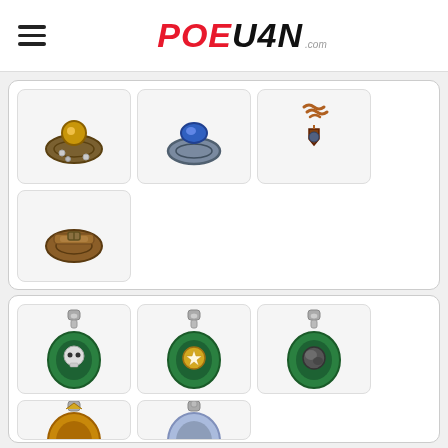POE U4N
[Figure (screenshot): Grid of game items - jewelry accessories: gold gem ring, blue sapphire ring, copper chain amulet, leather band]
[Figure (screenshot): Grid of game items - flasks/potions: three green oval flasks with emblems, and two more flasks partially visible]